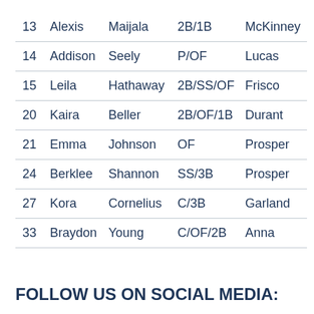| # | First | Last | Position | City |
| --- | --- | --- | --- | --- |
| 13 | Alexis | Maijala | 2B/1B | McKinney |
| 14 | Addison | Seely | P/OF | Lucas |
| 15 | Leila | Hathaway | 2B/SS/OF | Frisco |
| 20 | Kaira | Beller | 2B/OF/1B | Durant |
| 21 | Emma | Johnson | OF | Prosper |
| 24 | Berklee | Shannon | SS/3B | Prosper |
| 27 | Kora | Cornelius | C/3B | Garland |
| 33 | Braydon | Young | C/OF/2B | Anna |
FOLLOW US ON SOCIAL MEDIA: